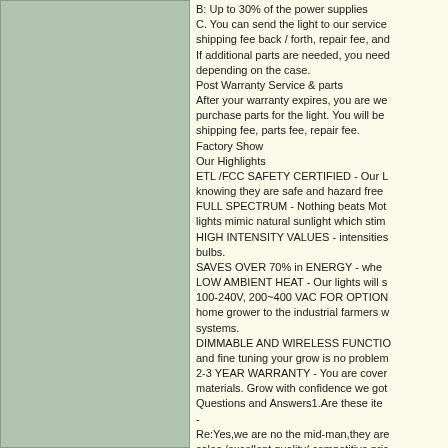[Figure (other): Green/sage colored rectangular panel on the left side of the page]
B: Up to 30% of the power supplies C. You can send the light to our service shipping fee back / forth, repair fee, and If additional parts are needed, you need depending on the case. Post Warranty Service & parts After your warranty expires, you are we purchase parts for the light. You will be shipping fee, parts fee, repair fee. Factory Show Our Highlights ETL /FCC SAFETY CERTIFIED - Our L knowing they are safe and hazard free FULL SPECTRUM - Nothing beats Mot lights mimic natural sunlight which stim HIGH INTENSITY VALUES - intensities bulbs. SAVES OVER 70% in ENERGY - whe LOW AMBIENT HEAT - Our lights will s 100-240V, 200~400 VAC FOR OPTION home grower to the industrial farmers w systems. DIMMABLE AND WIRELESS FUNCTIO and fine tuning your grow is no problem 2-3 YEAR WARRANTY - You are cover materials. Grow with confidence we got Questions and Answers1.Are these ite - Re:Yes,we are no the mid-man,they are sales /excellent quality/ competitive pri - Re:Sorry ,we don't accept pick it up ser